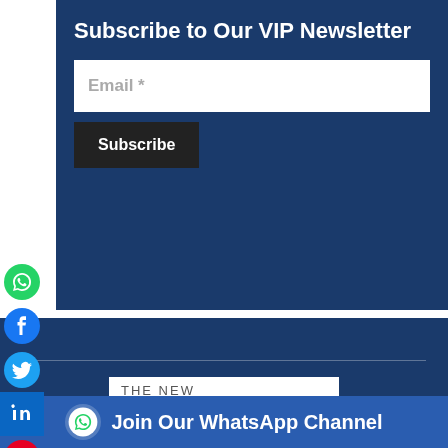Subscribe to Our VIP Newsletter
Email *
Subscribe
[Figure (logo): The New Diplomat newspaper logo with eagle icon]
Join Our WhatsApp Channel